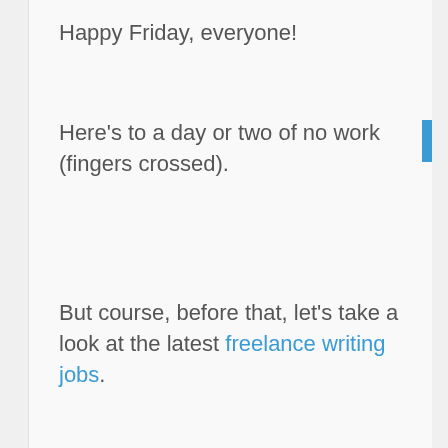Happy Friday, everyone!
Here's to a day or two of no work (fingers crossed).
But course, before that, let's take a look at the latest freelance writing jobs.